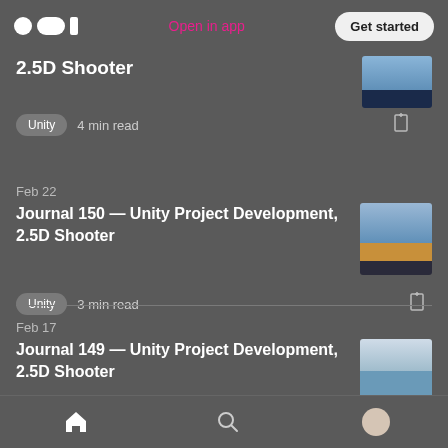Medium app header — Open in app | Get started
2.5D Shooter
Unity  4 min read
Feb 22
Journal 150 — Unity Project Development, 2.5D Shooter
Unity  3 min read
Feb 17
Journal 149 — Unity Project Development, 2.5D Shooter
Home | Search | Profile